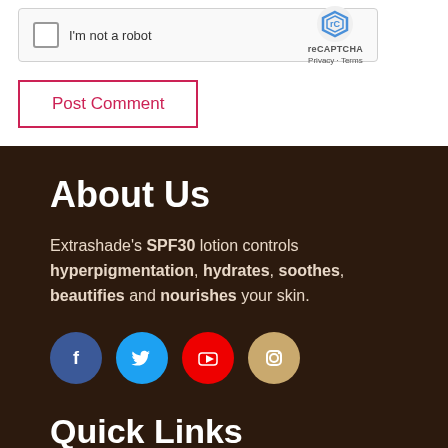[Figure (screenshot): reCAPTCHA widget with checkbox labeled 'I'm not a robot' and reCAPTCHA logo with Privacy and Terms links]
Post Comment
About Us
Extrashade's SPF30 lotion controls hyperpigmentation, hydrates, soothes, beautifies and nourishes your skin.
[Figure (infographic): Social media icons: Facebook, Twitter, YouTube, Instagram]
Quick Links